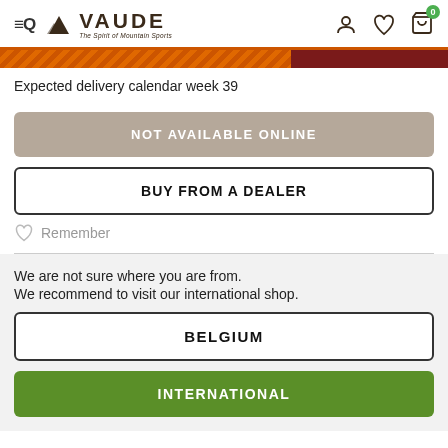VAUDE – The Spirit of Mountain Sports
Expected delivery calendar week 39
NOT AVAILABLE ONLINE
BUY FROM A DEALER
Remember
We are not sure where you are from. We recommend to visit our international shop.
BELGIUM
INTERNATIONAL